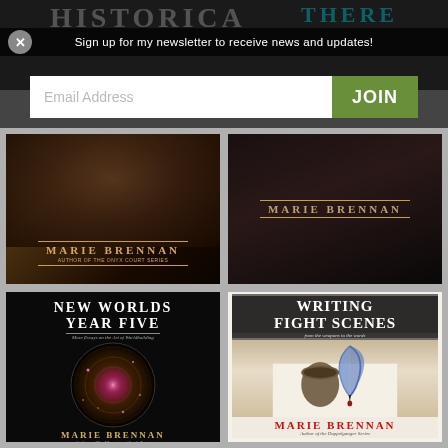Sign up for my newsletter to receive news and updates!
[Figure (screenshot): Email address input field with JOIN button for newsletter signup]
[Figure (photo): Book cover: Marie Brennan - Author of the Onyx Court Series, dark ornate background]
[Figure (photo): Book cover: Marie Brennan, dark wood/curtain background]
[Figure (photo): Book cover: New Worlds Year Five - More Essays on the Art of Worldbuilding by Marie Brennan, Author of The Memoirs of Lady Trent, with cosmic sphere]
[Figure (photo): Book cover: Writing Fight Scenes - from the weapons to the words by Marie Brennan, Author of the Doppelganger Series, quill pen and inkwell photo]